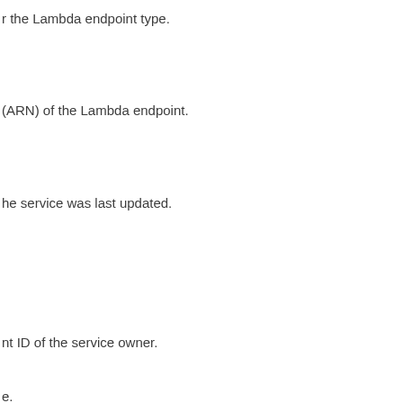r the Lambda endpoint type.
(ARN) of the Lambda endpoint.
he service was last updated.
nt ID of the service owner.
e.